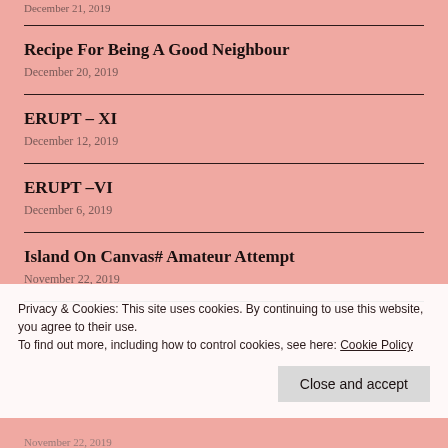December 21, 2019
Recipe For Being A Good Neighbour
December 20, 2019
ERUPT – XI
December 12, 2019
ERUPT –VI
December 6, 2019
Island On Canvas# Amateur Attempt
November 22, 2019
Privacy & Cookies: This site uses cookies. By continuing to use this website, you agree to their use.
To find out more, including how to control cookies, see here: Cookie Policy
Close and accept
November 22, 2019